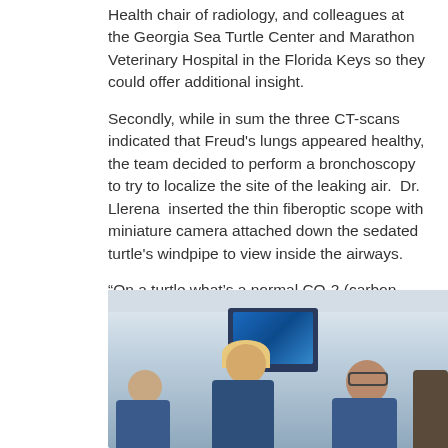Health chair of radiology, and colleagues at the Georgia Sea Turtle Center and Marathon Veterinary Hospital in the Florida Keys so they could offer additional insight.
Secondly, while in sum the three CT-scans indicated that Freud's lungs appeared healthy, the team decided to perform a bronchoscopy to try to localize the site of the leaking air.  Dr. Llerena  inserted the thin fiberoptic scope with miniature camera attached down the sedated turtle's windpipe to view inside the airways.
“On a turtle what’s a normal CO-2 (carbon dioxide) reading?” Dr. Llerena turned to ask Dr. Heym, who helped guide him through the process carefully monitored by the The Florida Aquarium’s veterinary team.  “This is really different than a human.”
[Figure (photo): Medical team working in a clinical setting around computer monitors. A blonde woman in blue scrubs is in the center foreground leaning over equipment. A man on the left and a man with a mustache and glasses on the right are visible, along with a partially visible person on the far right.]